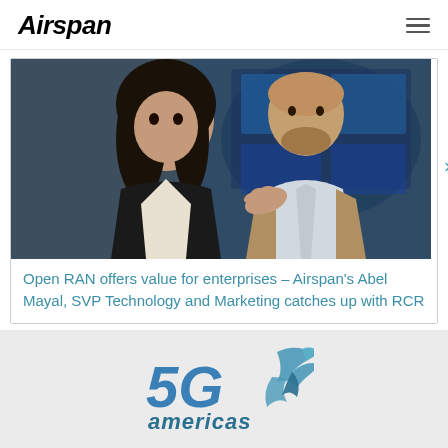Airspan
[Figure (photo): Two people in conversation at an event or conference setting with digital screens in the background. A woman in a black jacket on the left and a man in a grey/tan blazer on the right.]
Open RAN offers value for enterprises – Airspan's Abel Mayal, SVP Technology and Marketing catches up with RCR
[Figure (logo): 5G Americas logo with stylized text and a bird/map graphic in blue and teal colors.]